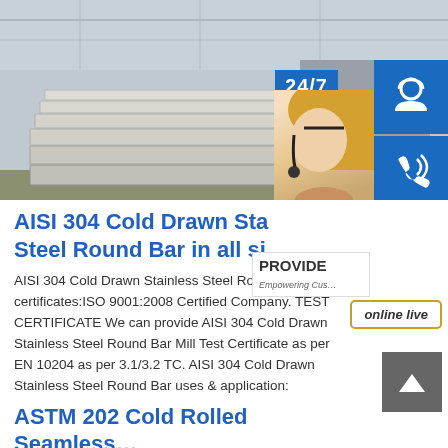[Figure (photo): Industrial warehouse interior with stainless steel flat plates/sheets stacked, blue-gray tones, steel tubes visible in background]
AISI 304 Cold Drawn Stainless Steel Round Bar in all si…
AISI 304 Cold Drawn Stainless Steel Round Bar certificates:ISO 9001:2008 Certified Company. TEST CERTIFICATE We can provide AISI 304 Cold Drawn Stainless Steel Round Bar Mill Test Certificate as per EN 10204 as per 3.1/3.2 TC. AISI 304 Cold Drawn Stainless Steel Round Bar uses & application:
ASTM 202 Cold Rolled Seamless…